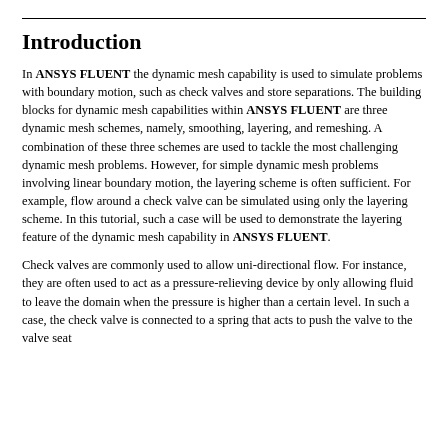Introduction
In ANSYS FLUENT the dynamic mesh capability is used to simulate problems with boundary motion, such as check valves and store separations. The building blocks for dynamic mesh capabilities within ANSYS FLUENT are three dynamic mesh schemes, namely, smoothing, layering, and remeshing. A combination of these three schemes are used to tackle the most challenging dynamic mesh problems. However, for simple dynamic mesh problems involving linear boundary motion, the layering scheme is often sufficient. For example, flow around a check valve can be simulated using only the layering scheme. In this tutorial, such a case will be used to demonstrate the layering feature of the dynamic mesh capability in ANSYS FLUENT.
Check valves are commonly used to allow uni-directional flow. For instance, they are often used to act as a pressure-relieving device by only allowing fluid to leave the domain when the pressure is higher than a certain level. In such a case, the check valve is connected to a spring that acts to push the valve to the valve seat